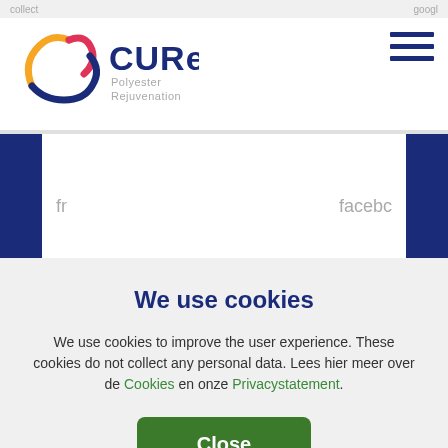[Figure (logo): CURE Polyester Rejuvenation logo with colorful swirl icon]
collect
googl
fr
facebc
IDE
double
We use cookies
We use cookies to improve the user experience. These cookies do not collect any personal data. Lees hier meer over de Cookies en onze Privacystatement.
Close